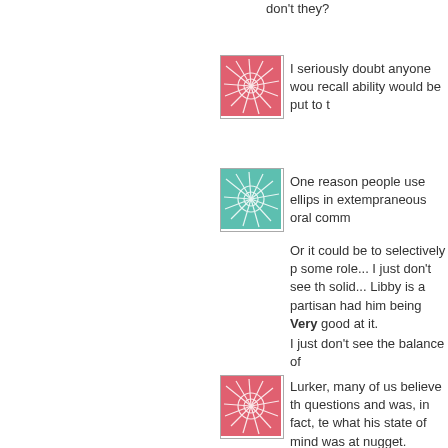don't they?
[Figure (illustration): Red abstract starburst avatar icon]
I seriously doubt anyone wou recall ability would be put to t
[Figure (illustration): Teal/green abstract starburst avatar icon]
One reason people use ellips in extempraneous oral comm
Or it could be to selectively p some role... I just don't see th solid... Libby is a partisan had him being Very good at it.
I just don't see the balance of
[Figure (illustration): Red abstract starburst avatar icon]
Lurker, many of us believe th questions and was, in fact, te what his state of mind was at nugget.